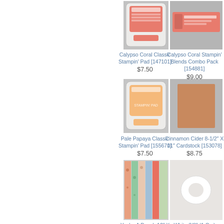[Figure (photo): Calypso Coral Classic Stampin' Pad product photo on gray background]
Calypso Coral Classic Stampin' Pad [147101]
$7.50
[Figure (photo): Calypso Coral Stampin' Blends Combo Pack product photo on gray background]
Calypso Coral Stampin' Blends Combo Pack [154881]
$9.00
[Figure (photo): Pale Papaya Classic Stampin' Pad product photo on gray background]
Pale Papaya Classic Stampin' Pad [155670]
$7.50
[Figure (photo): Cinnamon Cider 8-1/2" X 11" Cardstock product photo on gray background]
Cinnamon Cider 8-1/2" X 11" Cardstock [153078]
$8.75
[Figure (photo): You're A Peach 12" X paper pack product photo showing floral patterned papers]
You're A Peach 12" X
[Figure (photo): White 3/8" (1 Cm) product photo on light background]
White 3/8" (1 Cm)